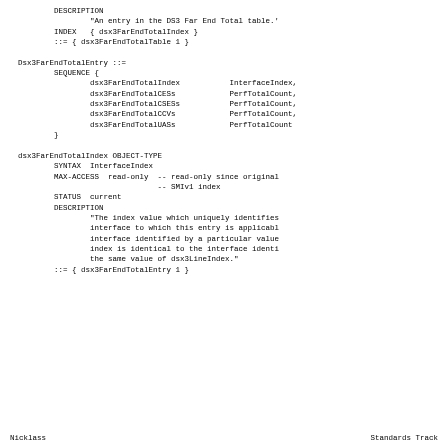DESCRIPTION
        "An entry in the DS3 Far End Total table.'
    INDEX   { dsx3FarEndTotalIndex }
    ::= { dsx3FarEndTotalTable 1 }

Dsx3FarEndTotalEntry ::=
    SEQUENCE {
        dsx3FarEndTotalIndex           InterfaceIndex,
        dsx3FarEndTotalCESs            PerfTotalCount,
        dsx3FarEndTotalCSESs           PerfTotalCount,
        dsx3FarEndTotalCCVs            PerfTotalCount,
        dsx3FarEndTotalUASs            PerfTotalCount
    }

dsx3FarEndTotalIndex OBJECT-TYPE
    SYNTAX  InterfaceIndex
    MAX-ACCESS  read-only  -- read-only since original
                           -- SMIv1 index
    STATUS  current
    DESCRIPTION
            "The index value which uniquely identifies
            interface to which this entry is applicabl
            interface identified by a particular value
            index is identical to the interface identi
            the same value of dsx3LineIndex."
    ::= { dsx3FarEndTotalEntry 1 }
Nicklass                                          Standards Track